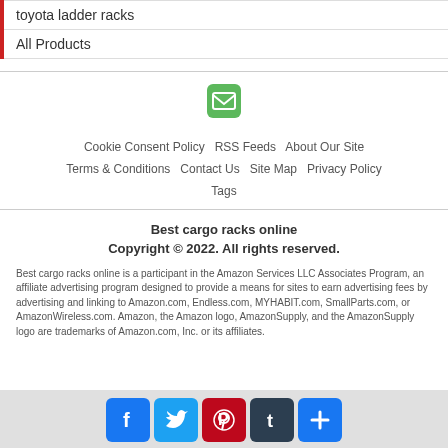toyota ladder racks
All Products
[Figure (other): Green email/envelope icon]
Cookie Consent Policy   RSS Feeds   About Our Site   Terms & Conditions   Contact Us   Site Map   Privacy Policy   Tags
Best cargo racks online
Copyright © 2022. All rights reserved.
Best cargo racks online is a participant in the Amazon Services LLC Associates Program, an affiliate advertising program designed to provide a means for sites to earn advertising fees by advertising and linking to Amazon.com, Endless.com, MYHABIT.com, SmallParts.com, or AmazonWireless.com. Amazon, the Amazon logo, AmazonSupply, and the AmazonSupply logo are trademarks of Amazon.com, Inc. or its affiliates.
[Figure (other): Social media icons row: Facebook, Twitter, Pinterest, Tumblr, and a plus/share button]